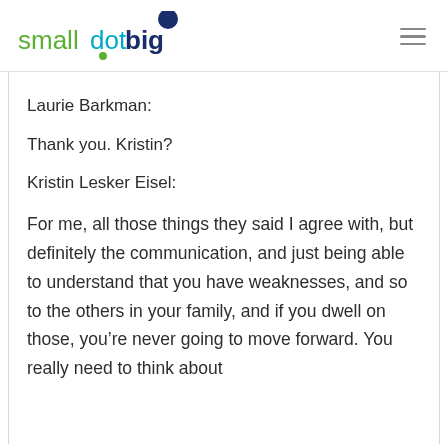smalldotbig
Laurie Barkman:
Thank you. Kristin?
Kristin Lesker Eisel:
For me, all those things they said I agree with, but definitely the communication, and just being able to understand that you have weaknesses, and so to the others in your family, and if you dwell on those, you’re never going to move forward. You really need to think about